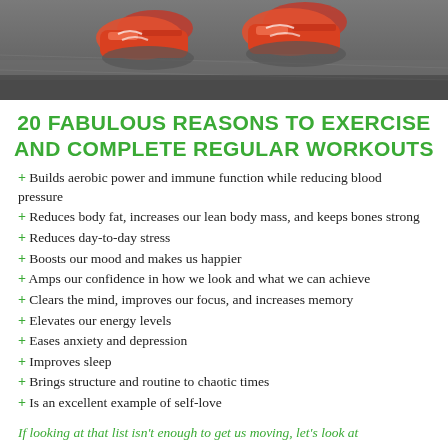[Figure (photo): Close-up photo of running shoes on pavement/road, taken from low angle, showing the feet and road surface.]
20 FABULOUS REASONS TO EXERCISE AND COMPLETE REGULAR WORKOUTS
+ Builds aerobic power and immune function while reducing blood pressure
+ Reduces body fat, increases our lean body mass, and keeps bones strong
+ Reduces day-to-day stress
+ Boosts our mood and makes us happier
+ Amps our confidence in how we look and what we can achieve
+ Clears the mind, improves our focus, and increases memory
+ Elevates our energy levels
+ Eases anxiety and depression
+ Improves sleep
+ Brings structure and routine to chaotic times
+ Is an excellent example of self-love
If looking at that list isn't enough to get us moving, let's look at